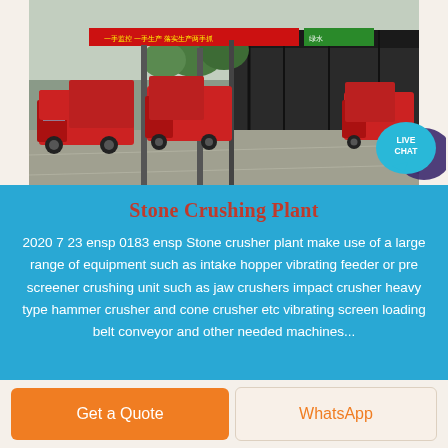[Figure (photo): Industrial stone crushing plant site with red dump trucks lined up on a concrete road inside a facility, Chinese banner text visible on a red banner above the road, large dark corrugated metal shed/building in background, green trees visible.]
Stone Crushing Plant
2020 7 23 ensp 0183 ensp Stone crusher plant make use of a large range of equipment such as intake hopper vibrating feeder or pre screener crushing unit such as jaw crushers impact crusher heavy type hammer crusher and cone crusher etc vibrating screen loading belt conveyor and other needed machines...
[Figure (other): Live Chat bubble icon — teal/blue speech bubble with 'LIVE CHAT' text in white, with a dark purple chat icon.]